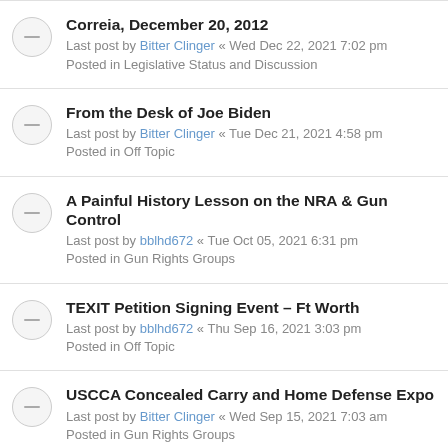Correia, December 20, 2012
Last post by Bitter Clinger « Wed Dec 22, 2021 7:02 pm
Posted in Legislative Status and Discussion
From the Desk of Joe Biden
Last post by Bitter Clinger « Tue Dec 21, 2021 4:58 pm
Posted in Off Topic
A Painful History Lesson on the NRA & Gun Control
Last post by bblhd672 « Tue Oct 05, 2021 6:31 pm
Posted in Gun Rights Groups
TEXIT Petition Signing Event – Ft Worth
Last post by bblhd672 « Thu Sep 16, 2021 3:03 pm
Posted in Off Topic
USCCA Concealed Carry and Home Defense Expo
Last post by Bitter Clinger « Wed Sep 15, 2021 7:03 am
Posted in Gun Rights Groups